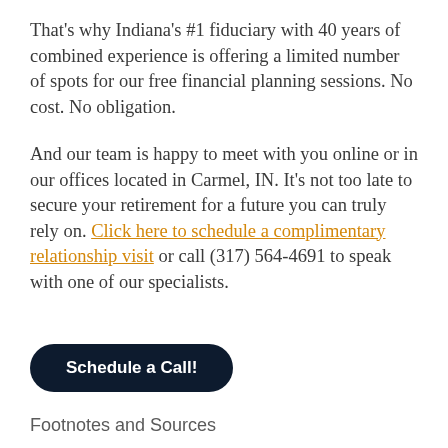That's why Indiana's #1 fiduciary with 40 years of combined experience is offering a limited number of spots for our free financial planning sessions. No cost. No obligation.
And our team is happy to meet with you online or in our offices located in Carmel, IN. It's not too late to secure your retirement for a future you can truly rely on. Click here to schedule a complimentary relationship visit or call (317) 564-4691 to speak with one of our specialists.
Schedule a Call!
Footnotes and Sources